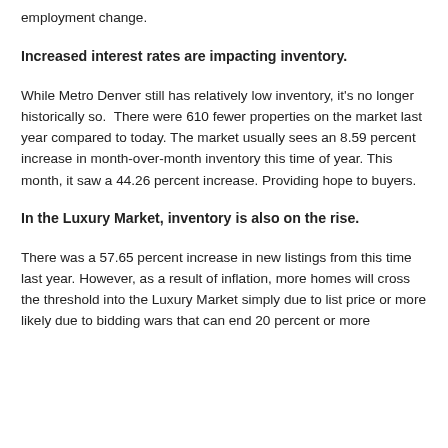employment change.
Increased interest rates are impacting inventory.
While Metro Denver still has relatively low inventory, it's no longer historically so.  There were 610 fewer properties on the market last year compared to today. The market usually sees an 8.59 percent increase in month-over-month inventory this time of year. This month, it saw a 44.26 percent increase. Providing hope to buyers.
In the Luxury Market, inventory is also on the rise.
There was a 57.65 percent increase in new listings from this time last year. However, as a result of inflation, more homes will cross the threshold into the Luxury Market simply due to list price or more likely due to bidding wars that can end 20 percent or more